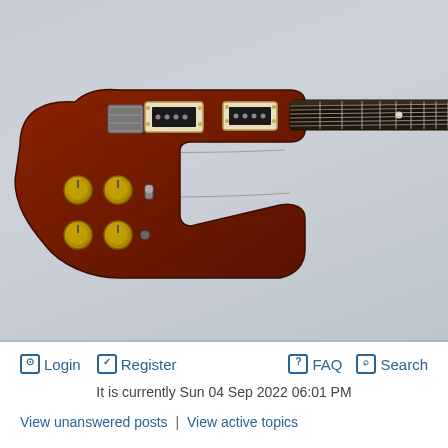[Figure (photo): Electric guitar (brown/mahogany body with gold knobs, two cream-bordered humbucking pickups, dark fretboard extending to the right) photographed against a light grey-blue background.]
Login   Register   FAQ   Search
It is currently Sun 04 Sep 2022 06:01 PM
View unanswered posts | View active topics